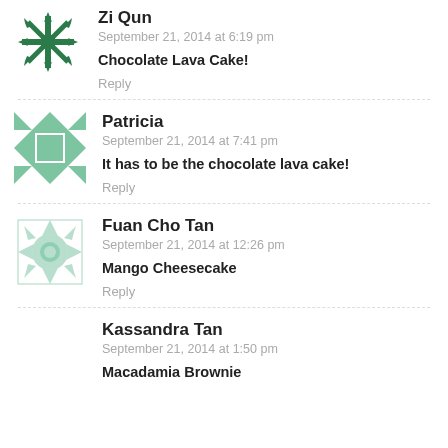Zi Qun
September 21, 2014 at 6:19 pm
Chocolate Lava Cake!
Reply
Patricia
September 21, 2014 at 7:41 pm
It has to be the chocolate lava cake!
Reply
Fuan Cho Tan
September 21, 2014 at 12:26 pm
Mango Cheesecake
Reply
Kassandra Tan
September 21, 2014 at 1:50 pm
Macadamia Brownie